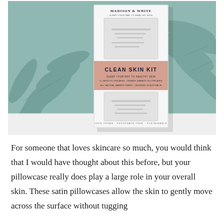[Figure (photo): Product photo of a 'Clean Skin Kit' by Madison & White in white packaging with a pink/salmon band, displayed against a green botanical wallpaper background and a white tabletop surface.]
For someone that loves skincare so much, you would think that I would have thought about this before, but your pillowcase really does play a large role in your overall skin. These satin pillowcases allow the skin to gently move across the surface without tugging